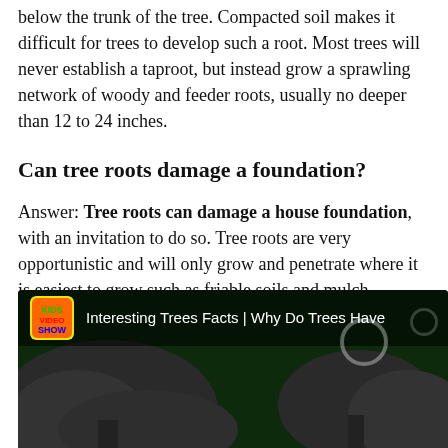below the trunk of the tree. Compacted soil makes it difficult for trees to develop such a root. Most trees will never establish a taproot, but instead grow a sprawling network of woody and feeder roots, usually no deeper than 12 to 24 inches.
Can tree roots damage a foundation?
Answer: Tree roots can damage a house foundation, with an invitation to do so. Tree roots are very opportunistic and will only grow and penetrate where it is easiest to grow such as friable soils and mulch.
[Figure (screenshot): YouTube video thumbnail showing 'Interesting Trees Facts | Why Do Trees Have' with a channel logo on a dark green background with tree silhouettes]